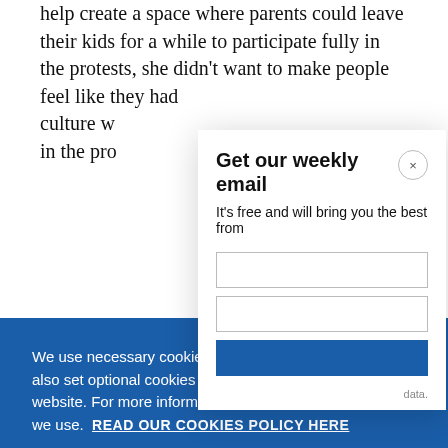help create a space where parents could leave their kids for a while to participate fully in the protests, she didn't want to make people feel like they had culture w in the pro
[Figure (screenshot): Email signup modal overlay with title 'Get our weekly email', subtitle 'It's free and will bring you the best from', a close button (×), input fields, and a subscribe button]
[Figure (screenshot): Cookie consent banner with blue background. Text: 'We use necessary cookies that allow our site to work. We also set optional cookies that help us improve our website. For more information about the types of cookies we use. READ OUR COOKIES POLICY HERE'. Two buttons: 'COOKIE SETTINGS' and 'ALLOW ALL COOKIES']
able to b data.